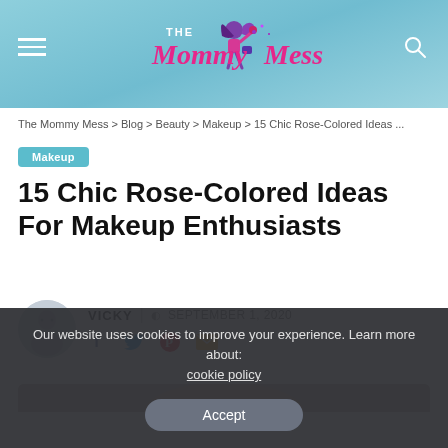The Mommy Mess
The Mommy Mess > Blog > Beauty > Makeup > 15 Chic Rose-Colored Ideas ...
Makeup
15 Chic Rose-Colored Ideas For Makeup Enthusiasts
VICKY | SEPTEMBER 1, 2020
[Figure (photo): Partial photo of a woman with rose-colored hair at the bottom of the page]
Our website uses cookies to improve your experience. Learn more about: cookie policy
Accept